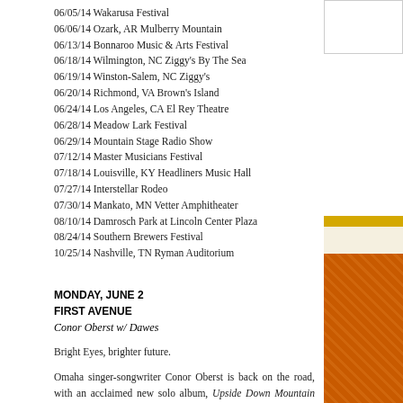06/05/14 Wakarusa Festival
06/06/14 Ozark, AR Mulberry Mountain
06/13/14 Bonnaroo Music & Arts Festival
06/18/14 Wilmington, NC Ziggy's By The Sea
06/19/14 Winston-Salem, NC Ziggy's
06/20/14 Richmond, VA Brown's Island
06/24/14 Los Angeles, CA El Rey Theatre
06/28/14 Meadow Lark Festival
06/29/14 Mountain Stage Radio Show
07/12/14 Master Musicians Festival
07/18/14 Louisville, KY Headliners Music Hall
07/27/14 Interstellar Rodeo
07/30/14 Mankato, MN Vetter Amphitheater
08/10/14 Damrosch Park at Lincoln Center Plaza
08/24/14 Southern Brewers Festival
10/25/14 Nashville, TN Ryman Auditorium
MONDAY, JUNE 2
FIRST AVENUE
Conor Oberst w/ Dawes
Bright Eyes, brighter future.
Omaha singer-songwriter Conor Oberst is back on the road, with an acclaimed new solo album, Upside Down Mountain (Nonesuch Records), a Laurel Canyon inspired release co-produced by Jonathan